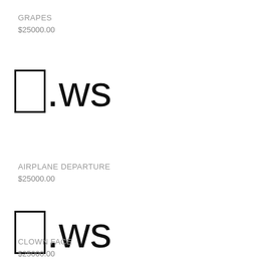GRAPES
$25000.00
[Figure (other): A rectangle box followed by .ws domain suffix text forming a domain name display]
AIRPLANE DEPARTURE
$25000.00
[Figure (other): A rectangle box followed by .ws domain suffix text forming a domain name display]
CLOWN FACE
$25000.00